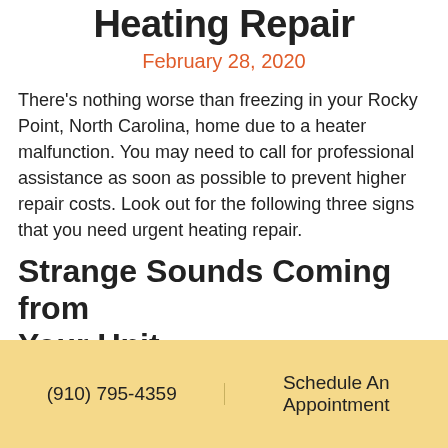Heating Repair
February 28, 2020
There's nothing worse than freezing in your Rocky Point, North Carolina, home due to a heater malfunction. You may need to call for professional assistance as soon as possible to prevent higher repair costs. Look out for the following three signs that you need urgent heating repair.
Strange Sounds Coming from Your Unit
Strange sounds that suddenly come from your car signal that something is wrong, and the same
(910) 795-4359   Schedule An Appointment